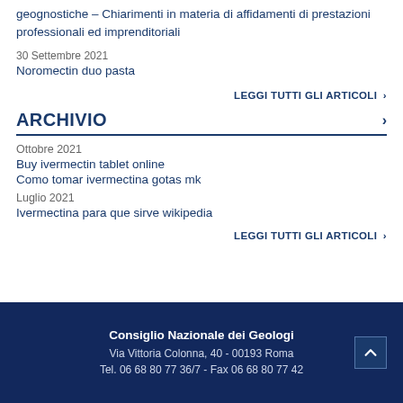geognostiche – Chiarimenti in materia di affidamenti di prestazioni professionali ed imprenditoriali
30 Settembre 2021
Noromectin duo pasta
LEGGI TUTTI GLI ARTICOLI ›
ARCHIVIO
Ottobre 2021
Buy ivermectin tablet online
Como tomar ivermectina gotas mk
Luglio 2021
Ivermectina para que sirve wikipedia
LEGGI TUTTI GLI ARTICOLI ›
Consiglio Nazionale dei Geologi
Via Vittoria Colonna, 40 - 00193 Roma
Tel. 06 68 80 77 36/7 - Fax 06 68 80 77 42